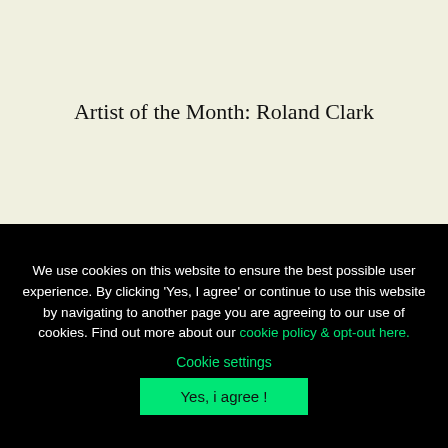Artist of the Month: Roland Clark
We use cookies on this website to ensure the best possible user experience. By clicking 'Yes, I agree' or continue to use this website by navigating to another page you are agreeing to our use of cookies. Find out more about our cookie policy & opt-out here.
Cookie settings
Yes, i agree !